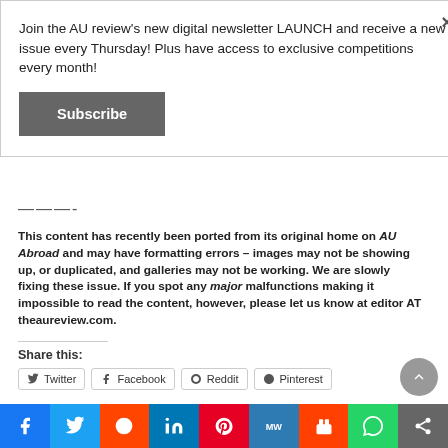Join the AU review's new digital newsletter LAUNCH and receive a new issue every Thursday! Plus have access to exclusive competitions every month!
Subscribe
———-
This content has recently been ported from its original home on AU Abroad and may have formatting errors – images may not be showing up, or duplicated, and galleries may not be working. We are slowly fixing these issue. If you spot any major malfunctions making it impossible to read the content, however, please let us know at editor AT theaureview.com.
Share this:
Twitter  Facebook  Reddit  Pinterest